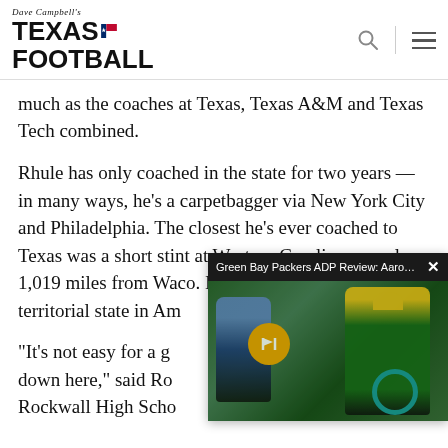Dave Campbell's Texas Football
much as the coaches at Texas, Texas A&M and Texas Tech combined.
Rhule has only coached in the state for two years — in many ways, he's a carpetbagger via New York City and Philadelphia. The closest he's ever coached to Texas was a short stint at Western Carolina, a cool 1,019 miles from Waco. In perhaps the most territorial state in A... high school coaches
“It's not easy for a g... down here,” said Ro... Rockwall High Scho...
[Figure (screenshot): Video ad overlay showing Green Bay Packers ADP Review: Aaron J... with a football game photo of a Green Bay Packers player running with the ball, and a mute button icon]